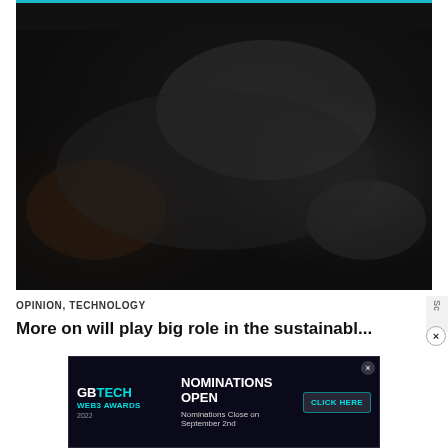[Figure (screenshot): Top dark strip/image partially visible at top of page]
[Figure (photo): Large dark blurry photograph occupying the upper two-thirds of the page]
OPINION, TECHNOLOGY
More on will play big role in the sustainable...
[Figure (other): Advertisement banner: GBTECH WEB3 AWARDS 2022 - NOMINATIONS OPEN - Nominations Close on September 2nd - CLICK HERE]